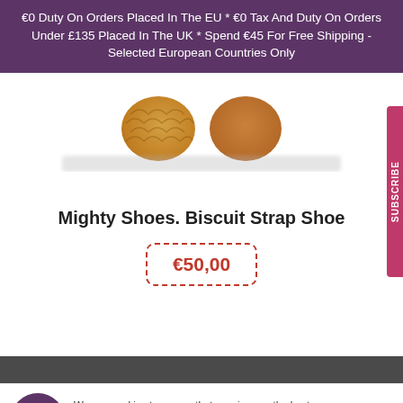€0 Duty On Orders Placed In The EU * €0 Tax And Duty On Orders Under £135 Placed In The UK * Spend €45 For Free Shipping - Selected European Countries Only
[Figure (photo): Two round tan/brown leather shoe sole or coin-shaped product images side by side, partially cropped at bottom]
Mighty Shoes. Biscuit Strap Shoe
€50,00
We use cookies to ensure that we give you the best experience on our website. If you continue you are agreeing to our privacy policy. Learn more